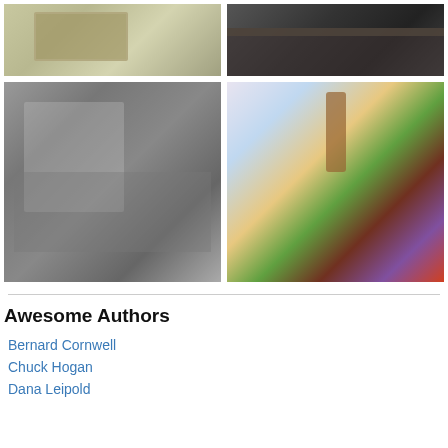[Figure (photo): Top-left photo: vintage typewriter or writing-related object on a light textured background]
[Figure (photo): Top-right photo: close-up black and white photo of a person in a knit turtleneck sweater]
[Figure (photo): Bottom-left photo: black and white photo of an older man (Ernest Hemingway-style) writing at a desk]
[Figure (illustration): Bottom-right illustration: colorful fantasy illustration with fairies, mythical creatures, trees and purple cloth]
Awesome Authors
Bernard Cornwell
Chuck Hogan
Dana Leipold